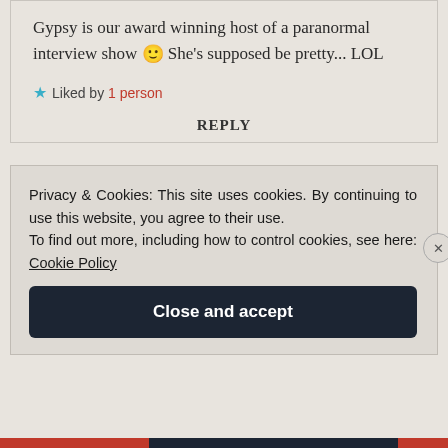Gypsy is our award winning host of a paranormal interview show 🙂 She's supposed be pretty... LOL
★ Liked by 1 person
REPLY
Privacy & Cookies: This site uses cookies. By continuing to use this website, you agree to their use. To find out more, including how to control cookies, see here: Cookie Policy
Close and accept